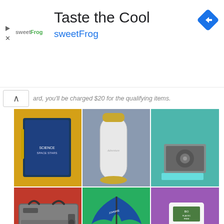[Figure (logo): sweetFrog logo with ad banner showing 'Taste the Cool' title and 'sweetFrog' subtitle in blue, with navigation diamond icon top right and collapse/play/X icons on left]
...ard, you'll be charged $20 for the qualifying items.
[Figure (photo): A 3x2 grid of promotional product photos: top row shows a blue science/space themed notebook on yellow background, a marble-pattern water bottle with gold cap on grey-blue background, and a small bluetooth speaker on teal background. Bottom row shows a grey duffel bag on red background, a blue branded umbrella on green background, and a bag of colorful candy/gummies on purple background.]
Free Promotional Products | Worldwide
Typically given-away for free, promo products are just